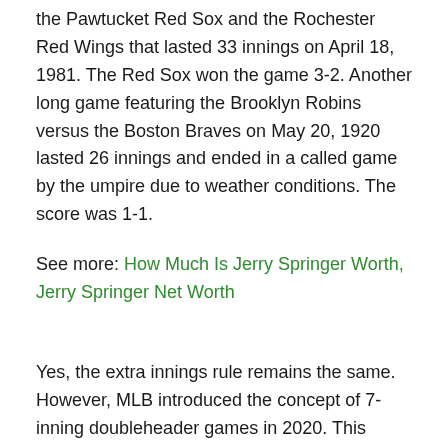the Pawtucket Red Sox and the Rochester Red Wings that lasted 33 innings on April 18, 1981. The Red Sox won the game 3-2. Another long game featuring the Brooklyn Robins versus the Boston Braves on May 20, 1920 lasted 26 innings and ended in a called game by the umpire due to weather conditions. The score was 1-1.
See more: How Much Is Jerry Springer Worth, Jerry Springer Net Worth
Yes, the extra innings rule remains the same. However, MLB introduced the concept of 7-inning doubleheader games in 2020. This means extra innings begin if the game is tied after the 7th inning.